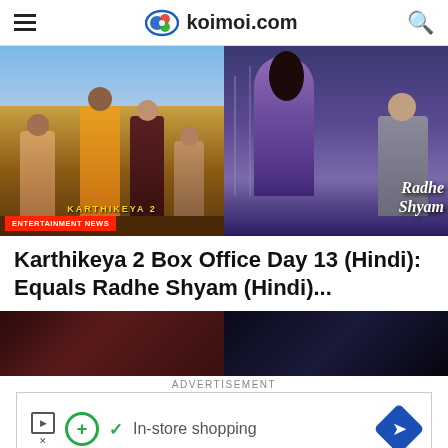koimoi.com
[Figure (photo): Split movie poster image: left side shows Karthikeya 2 Hindi movie poster with actors, right side shows Radhe Shyam movie poster with a couple in dramatic pose. Entertainment News badge on bottom left.]
Karthikeya 2 Box Office Day 13 (Hindi): Equals Radhe Shyam (Hindi)...
[Figure (photo): Partial thumbnail images of two films, partially visible, split side by side]
ADVERTISEMENT
[Figure (other): Advertisement banner: Play icon, X icon, green circle with plus, checkmark, 'In-store shopping' text, blue diamond arrow icon]